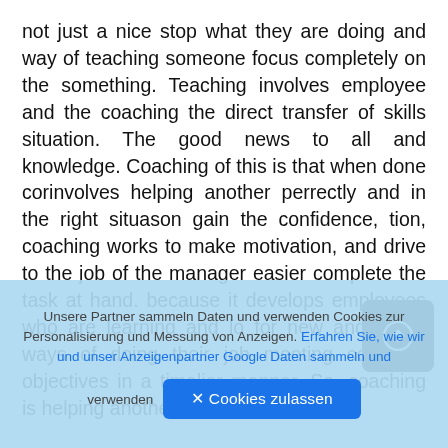not just a nice stop what they are doing and way of teaching someone focus completely on the something. Teaching involves employee and the coaching the direct transfer of skills situation. The good news to all and knowledge. Coaching of this is that when done corinvolves helping another perrectly and in the right situason gain the confidence, tion, coaching works to make motivation, and drive to the job of the manager easier complete the task at hand. because it develops employees who are learning and lo for new and better ways of doing their job meeting company objectives in a timelier manner. So, coaching is helping another person reach higher
Unsere Partner sammeln Daten und verwenden Cookies zur Personalisierung und Messung von Anzeigen. Erfahren Sie, wie wir und unser Anzeigenpartner Google Daten sammeln und verwenden